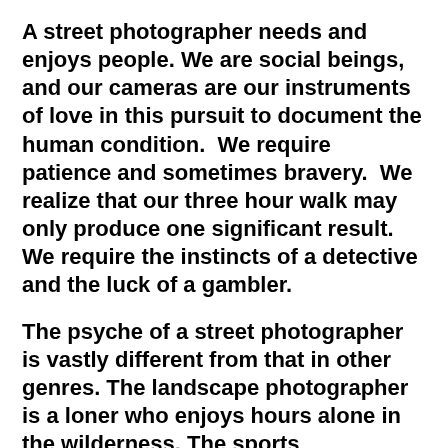A street photographer needs and enjoys people. We are social beings, and our cameras are our instruments of love in this pursuit to document the human condition. We require patience and sometimes bravery. We realize that our three hour walk may only produce one significant result. We require the instincts of a detective and the luck of a gambler.
The psyche of a street photographer is vastly different from that in other genres. The landscape photographer is a loner who enjoys hours alone in the wilderness. The sports photographer is an action junkie who thrives racing up and down the field catching the death-defying play. The macro photographer is slightly OCD while spending